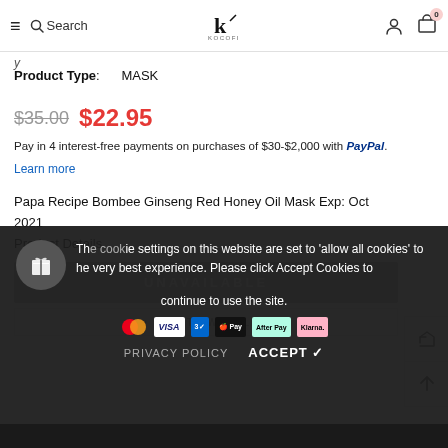[Figure (screenshot): Website navigation header bar with hamburger menu, search, logo (k/KOKOFI), user icon, and cart icon with badge showing 0]
Product Type:    MASK
$35.00  $22.95
Pay in 4 interest-free payments on purchases of $30-$2,000 with PayPal.
Learn more
Papa Recipe Bombee Ginseng Red Honey Oil Mask Exp: Oct 2021
Product Details
UNAVAILABLE
ADD TO WISH LIST
The cookie settings on this website are set to 'allow all cookies' to give you the very best experience. Please click Accept Cookies to continue to use the site.
PRIVACY POLICY   ACCEPT ✓